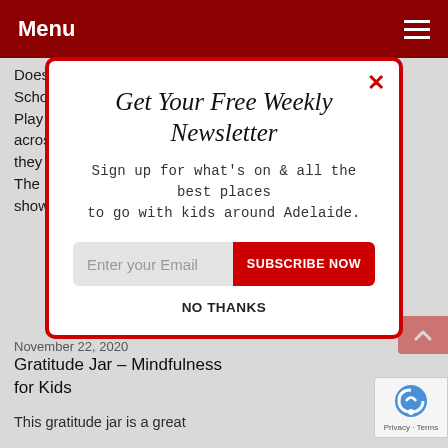Menu
Does your child want to be featured on ABC's Play School?
Play School are going 'Through The Windows' with kids across Australia. Share your home videos with them and they
The show
[Figure (screenshot): POWERED BY SUMO branding bar]
Get Your Free Weekly Newsletter
Sign up for what's on & all the best places to go with kids around Adelaide.
Enter your Email   SUBSCRIBE NOW
NO THANKS
November 22, 2020
Gratitude Jar – Mindfulness for Kids
This gratitude jar is a great